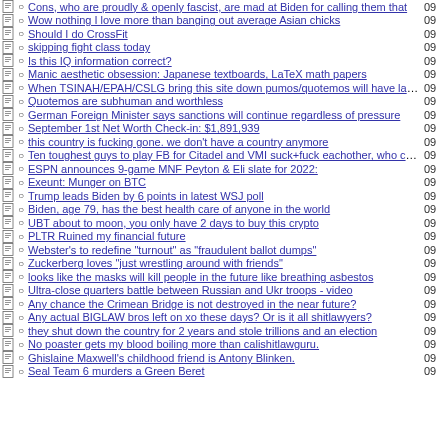Cons, who are proudly & openly fascist, are mad at Biden for calling them that
Wow nothing I love more than banging out average Asian chicks
Should I do CrossFit
skipping fight class today
Is this IQ information correct?
Manic aesthetic obsession: Japanese textboards, LaTeX math papers
When TSINAH/EPAH/CSLG bring this site down pumos/quotemos will have last laugh
Quotemos are subhuman and worthless
German Foreign Minister says sanctions will continue regardless of pressure
September 1st Net Worth Check-in: $1,891,939
this country is fucking gone. we don't have a country anymore
Ten toughest guys to play FB for Citadel and VMI suck+fuck eachother, who cums?
ESPN announces 9-game MNF Peyton & Eli slate for 2022:
Exeunt: Munger on BTC
Trump leads Biden by 6 points in latest WSJ poll
Biden, age 79, has the best health care of anyone in the world
UBT about to moon, you only have 2 days to buy this crypto
PLTR Ruined my financial future
Webster's to redefine "turnout" as "fraudulent ballot dumps"
Zuckerberg loves "just wrestling around with friends"
looks like the masks will kill people in the future like breathing asbestos
Ultra-close quarters battle between Russian and Ukr troops - video
Any chance the Crimean Bridge is not destroyed in the near future?
Any actual BIGLAW bros left on xo these days? Or is it all shitlawyers?
they shut down the country for 2 years and stole trillions and an election
No poaster gets my blood boiling more than calishitlawguru.
Ghislaine Maxwell's childhood friend is Antony Blinken.
Seal Team 6 murders a Green Beret